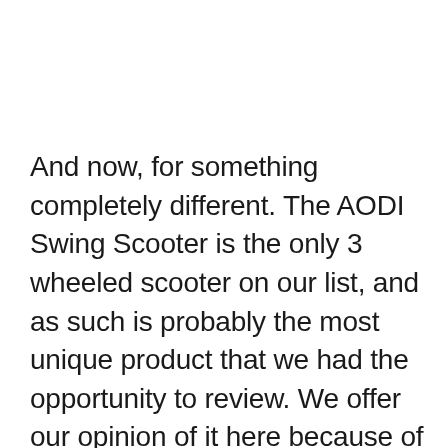And now, for something completely different. The AODI Swing Scooter is the only 3 wheeled scooter on our list, and as such is probably the most unique product that we had the opportunity to review. We offer our opinion of it here because of how unique it is in the marketplace, as well as its potential to overtake traditional 2-wheeled scooters as the standard for how kids are getting around.